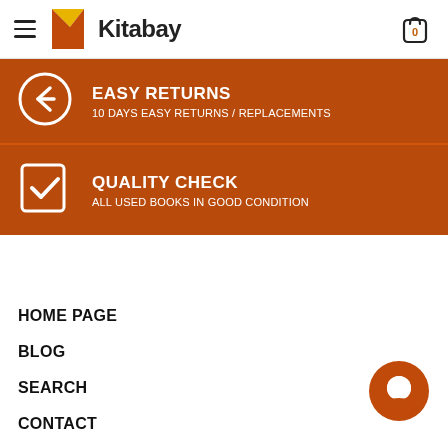Kitabay
[Figure (infographic): Easy Returns banner: back arrow icon with text EASY RETURNS / 10 DAYS EASY RETURNS / REPLACEMENTS on brown background]
[Figure (infographic): Quality Check banner: checkbox icon with text QUALITY CHECK / ALL USED BOOKS IN GOOD CONDITION on brown background]
HOME PAGE
BLOG
SEARCH
CONTACT
TERMS & CONDITION